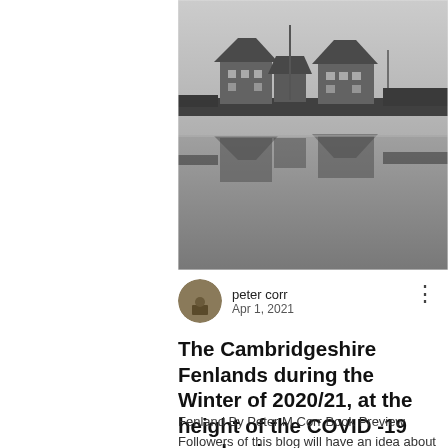[Figure (photo): Black and white photograph of two house buildings reflected in still water, flat fenland landscape, grey sky]
peter corr
Apr 1, 2021
The Cambridgeshire Fenlands during the Winter of 2020/21, at the height of the COVID -19 pandemic.
Fenland By Peter M Corr Book Preview Followers of this blog will have an idea about the number of photographs I